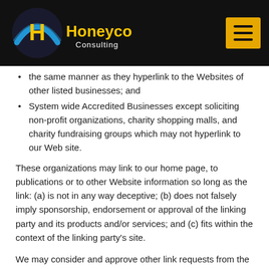[Figure (logo): Honeycorp Consulting logo — circular emblem with blue swoosh and yellow H, with 'Honeycorp Consulting' text in yellow/white on black header bar]
the same manner as they hyperlink to the Websites of other listed businesses; and
System wide Accredited Businesses except soliciting non-profit organizations, charity shopping malls, and charity fundraising groups which may not hyperlink to our Web site.
These organizations may link to our home page, to publications or to other Website information so long as the link: (a) is not in any way deceptive; (b) does not falsely imply sponsorship, endorsement or approval of the linking party and its products and/or services; and (c) fits within the context of the linking party's site.
We may consider and approve other link requests from the following types of organizations: